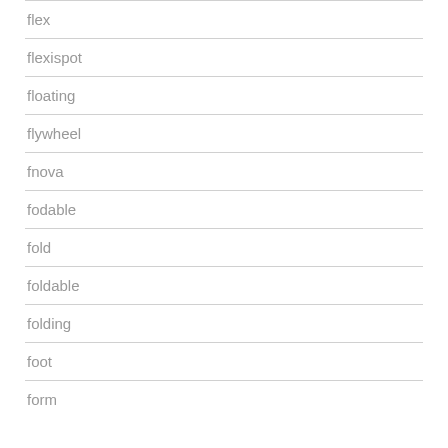flex
flexispot
floating
flywheel
fnova
fodable
fold
foldable
folding
foot
form